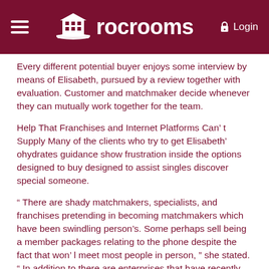rocrooms — Login
Every different potential buyer enjoys some interview by means of Elisabeth, pursued by a review together with evaluation. Customer and matchmaker decide whenever they can mutually work together for the team.
Help That Franchises and Internet Platforms Can’ t Supply Many of the clients who try to get Elisabeth’ ohydrates guidance show frustration inside the options designed to buy designed to assist singles discover special someone.
“ There are shady matchmakers, specialists, and franchises pretending in becoming matchmakers which have been swindling person’s. Some perhaps sell being a member packages relating to the phone despite the fact that won’ l meet most people in person, ” she stated. “ In addition to there are enterprises that have recently changed their own personal name nevertheless are the extremely people. ”
Elisabeth almost guaranteed us which will genuine world ...